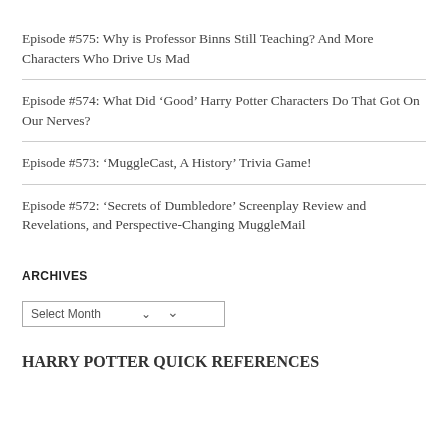Episode #575: Why is Professor Binns Still Teaching? And More Characters Who Drive Us Mad
Episode #574: What Did ‘Good’ Harry Potter Characters Do That Got On Our Nerves?
Episode #573: ‘MuggleCast, A History’ Trivia Game!
Episode #572: ‘Secrets of Dumbledore’ Screenplay Review and Revelations, and Perspective-Changing MuggleMail
ARCHIVES
Select Month
HARRY POTTER QUICK REFERENCES